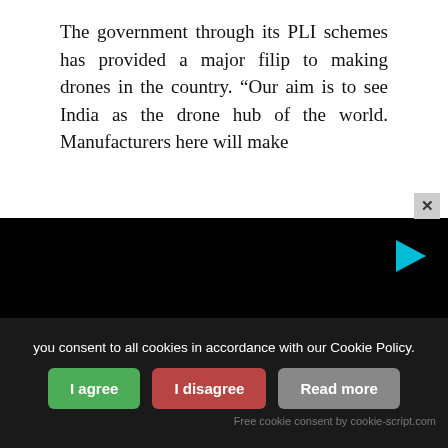The government through its PLI schemes has provided a major filip to making drones in the country. “Our aim is to see India as the drone hub of the world. Manufacturers here will make
[Figure (screenshot): Black video player area with a loading spinner (white partial circle) and a cyan/teal play triangle icon in the top right corner. Partially visible text at bottom right reads 'te'.]
you consent to all cookies in accordance with our Cookie Policy.
I agree
I disagree
Read more
Free cookie consent by cookie-script.com